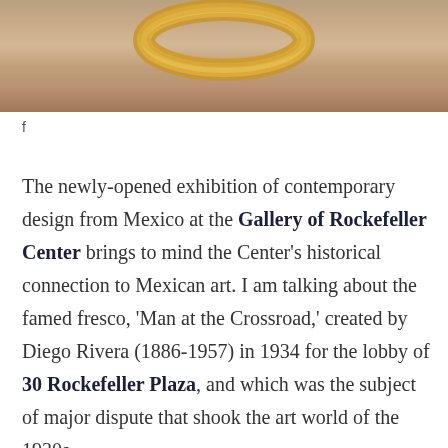[Figure (photo): Close-up photo of a gold/brass ring or circular metallic object on a beige/tan stone or concrete surface, partially cropped at the top of the page.]
f
The newly-opened exhibition of contemporary design from Mexico at the Gallery of Rockefeller Center brings to mind the Center's historical connection to Mexican art. I am talking about the famed fresco, 'Man at the Crossroad,' created by Diego Rivera (1886-1957) in 1934 for the lobby of 30 Rockefeller Plaza, and which was the subject of major dispute that shook the art world of the 1930s.